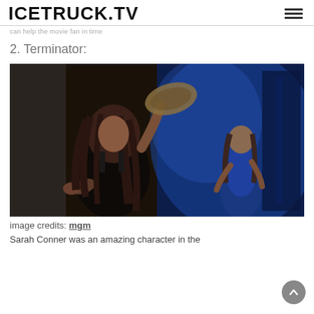ICETRUCK.TV
can help the movie fan in time
2. Terminator:
[Figure (photo): A still from the Terminator movie showing a woman with long dark hair in a dark tank top crouching and reaching out, with another woman in a blue outfit standing in the background against a blue-lit wall.]
image credits: mgm
Sarah Conner was an amazing character in the